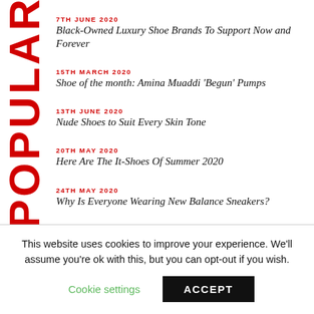POPULAR
7TH JUNE 2020 — Black-Owned Luxury Shoe Brands To Support Now and Forever
15TH MARCH 2020 — Shoe of the month: Amina Muaddi 'Begun' Pumps
13TH JUNE 2020 — Nude Shoes to Suit Every Skin Tone
20TH MAY 2020 — Here Are The It-Shoes Of Summer 2020
24TH MAY 2020 — Why Is Everyone Wearing New Balance Sneakers?
This website uses cookies to improve your experience. We'll assume you're ok with this, but you can opt-out if you wish.
Cookie settings | ACCEPT